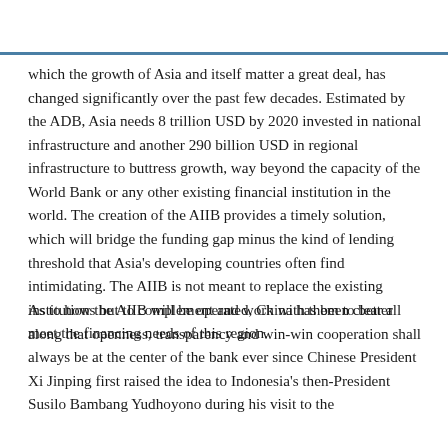which the growth of Asia and itself matter a great deal, has changed significantly over the past few decades. Estimated by the ADB, Asia needs 8 trillion USD by 2020 invested in national infrastructure and another 290 billion USD in regional infrastructure to buttress growth, way beyond the capacity of the World Bank or any other existing financial institution in the world. The creation of the AIIB provides a timely solution, which will bridge the funding gap minus the kind of lending threshold that Asia's developing countries often find intimidating. The AIIB is not meant to replace the existing institutions but to complement and work with them to better meet the financing needs of this region.
As to how the AIIB will be operated, China has been clear all along that openness, transparency and win-win cooperation shall always be at the center of the bank ever since Chinese President Xi Jinping first raised the idea to Indonesia's then-President Susilo Bambang Yudhoyono during his visit to the